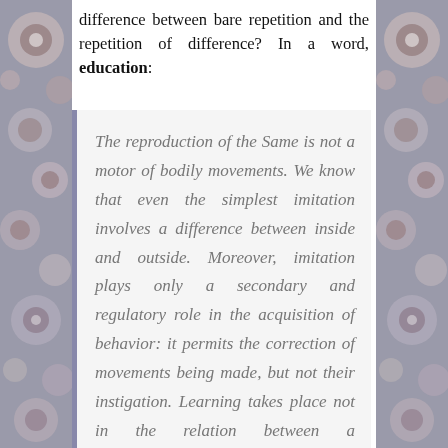difference between bare repetition and the repetition of difference? In a word, education:
The reproduction of the Same is not a motor of bodily movements. We know that even the simplest imitation involves a difference between inside and outside. Moreover, imitation plays only a secondary and regulatory role in the acquisition of behavior: it permits the correction of movements being made, but not their instigation. Learning takes place not in the relation between a representation and an action